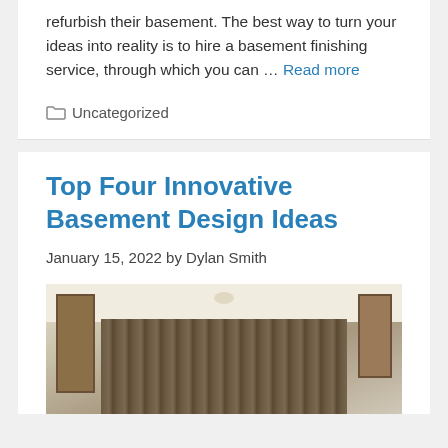refurbish their basement. The best way to turn your ideas into reality is to hire a basement finishing service, through which you can … Read more
Uncategorized
Top Four Innovative Basement Design Ideas
January 15, 2022 by Dylan Smith
[Figure (photo): Interior photo of a basement room showing ceiling, curtains, and doorways on left and right sides]